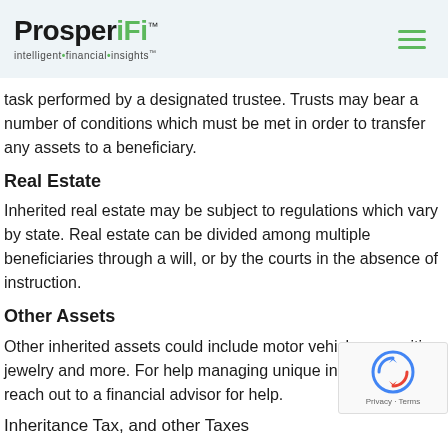ProsperiFi - Intelligent Financial Insights
task performed by a designated trustee. Trusts may bear a number of conditions which must be met in order to transfer any assets to a beneficiary.
Real Estate
Inherited real estate may be subject to regulations which vary by state. Real estate can be divided among multiple beneficiaries through a will, or by the courts in the absence of instruction.
Other Assets
Other inherited assets could include motor vehicles, annuities, jewelry and more. For help managing unique inheritance, reach out to a financial advisor for help.
Inheritance Tax, and other Taxes